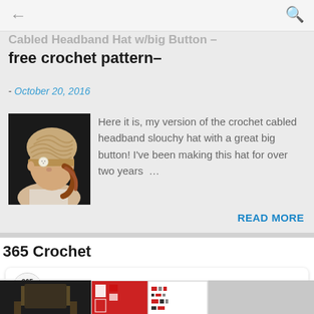← Cabled Headband Hat w/big Button – free crochet pattern–  🔍
Cabled Headband Hat w/big Button –
free crochet pattern–
- October 20, 2016
[Figure (photo): Photo of a woman wearing a tan cabled crochet slouchy headband hat with a large white button, shown in profile view]
Here it is, my version of the crochet cabled headband slouchy hat with a great big button! I've been making this hat for over two years …
READ MORE
365 Crochet
[Figure (logo): 365 Crochet circular logo]
365 Crochet
[Figure (photo): Bottom strip showing partial images including a chair, red/white patterned crochet charts, and a gray rectangle]